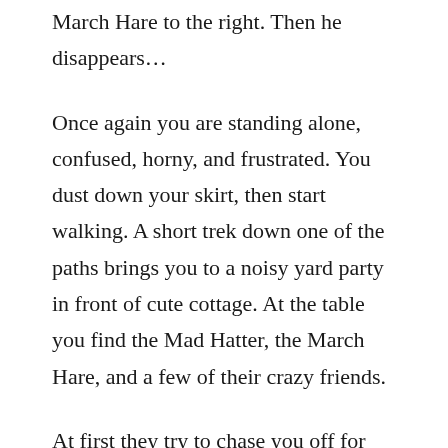March Hare to the right. Then he disappears…
Once again you are standing alone, confused, horny, and frustrated. You dust down your skirt, then start walking. A short trek down one of the paths brings you to a noisy yard party in front of cute cottage. At the table you find the Mad Hatter, the March Hare, and a few of their crazy friends.
At first they try to chase you off for being rude by going to their party without an invitation. Then they offer tea for their new sexy guest. The Mad Hatter and March Hare encourage you to join in with their 'Unbirthday Celebration'. It seems like a fun way to spend some time whilst you search for that special rabbit; after all, it was your 'Unbirthday' too.